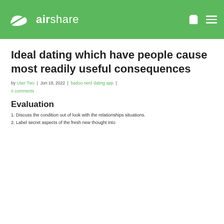airshare
Ideal dating which have people cause most readily useful consequences
by User Two | Jun 18, 2022 | badoo nerd dating app |
0 comments
Evaluation
1. Discuss the condition out of look with the relationships situations.
2. Label secret aspects of the fresh new thought into